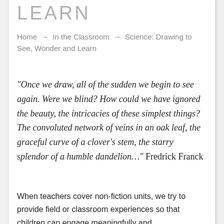LEARN
Home → In the Classroom → Science: Drawing to See, Wonder and Learn
“Once we draw, all of the sudden we begin to see again. Were we blind? How could we have ignored the beauty, the intricacies of these simplest things? The convoluted network of veins in an oak leaf, the graceful curve of a clover’s stem, the starry splendor of a humble dandelion…” Fredrick Franck
When teachers cover non-fiction units, we try to provide field or classroom experiences so that children can engage meaningfully and